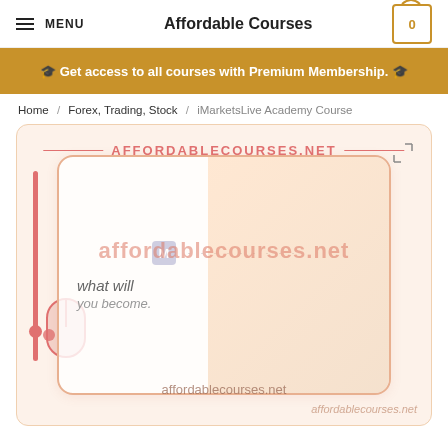MENU   Affordable Courses   0
🎓 Get access to all courses with Premium Membership. 🎓
Home / Forex, Trading, Stock / iMarketsLive Academy Course
[Figure (screenshot): Product preview image for iMarketsLive Academy Course on affordablecourses.net, showing a watermarked screenshot with 'what will you become?' text and a smiling person in the background. Watermark text reads 'AFFORDABLECOURSES.NET' and 'affordablecourses.net'.]